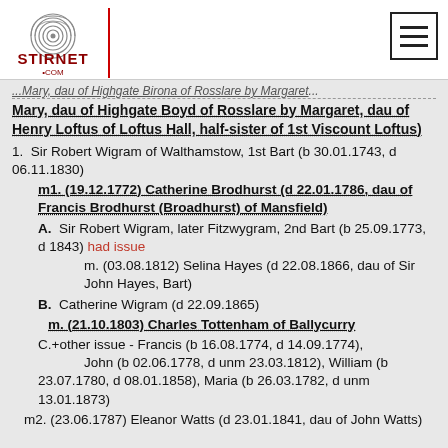Stirnet.com
...Mary, dau of Highgate Boyd of Rosslare by Margaret, dau of Henry Loftus of Loftus Hall, half-sister of 1st Viscount Loftus)
1. Sir Robert Wigram of Walthamstow, 1st Bart (b 30.01.1743, d 06.11.1830)
m1. (19.12.1772) Catherine Brodhurst (d 22.01.1786, dau of Francis Brodhurst (Broadhurst) of Mansfield)
A. Sir Robert Wigram, later Fitzwygram, 2nd Bart (b 25.09.1773, d 1843) had issue
m. (03.08.1812) Selina Hayes (d 22.08.1866, dau of Sir John Hayes, Bart)
B. Catherine Wigram (d 22.09.1865)
m. (21.10.1803) Charles Tottenham of Ballycurry
C.+other issue - Francis (b 16.08.1774, d 14.09.1774), John (b 02.06.1778, d unm 23.03.1812), William (b 23.07.1780, d 08.01.1858), Maria (b 26.03.1782, d unm 13.01.1873)
m2. (23.06.1787) Eleanor Watts (d 23.01.1841, dau of John Watts)